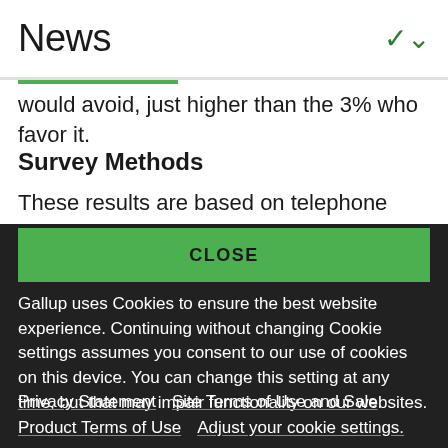News
would avoid, just higher than the 3% who favor it.
Survey Methods
These results are based on telephone interviews with a randomly selected national sample of 1,002
CLOSE
Gallup uses Cookies to ensure the best website experience. Continuing without changing Cookie settings assumes you consent to our use of cookies on this device. You can change this setting at any time, but that may impair functionality on our websites.
Privacy Statement   Site Terms of Use and Sale
Product Terms of Use   Adjust your cookie settings.